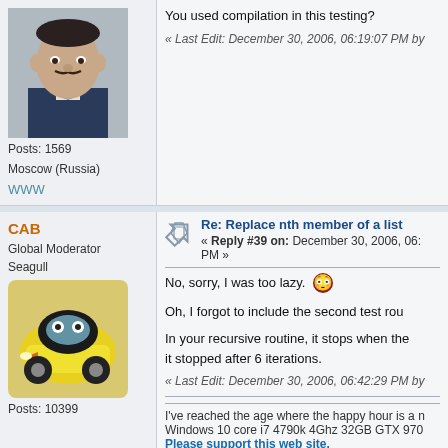[Figure (photo): Avatar photo of a man in a suit with a mustache]
Posts: 1569
Moscow (Russia)
WWW
You used compilation in this testing?
« Last Edit: December 30, 2006, 06:19:07 PM by
CAB
Global Moderator
Seagull
[Figure (illustration): Cartoon avatar of a black and yellow car character (seagull mascot)]
Posts: 10399
Re: Replace nth member of a list
« Reply #39 on: December 30, 2006, 06: PM »
No, sorry, I was too lazy.
Oh, I forgot to include the second test rou
In your recursive routine, it stops when the it stopped after 6 iterations.
« Last Edit: December 30, 2006, 06:42:29 PM by
I've reached the age where the happy hour is a n Windows 10 core i7 4790k 4Ghz 32GB GTX 970
Please support this web site.
ElnaroyEuroniy
Re: Replace nth member of a list